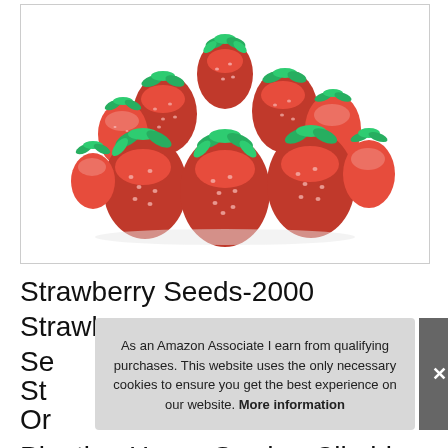[Figure (photo): A pile of fresh red strawberries with green leaves/stems, arranged in a pyramid shape on a white background, inside a light-bordered box.]
Strawberry Seeds-2000 Strawberry Se… St… Or…
As an Amazon Associate I earn from qualifying purchases. This website uses the only necessary cookies to ensure you get the best experience on our website. More information
Planting Home Garden-Climbing